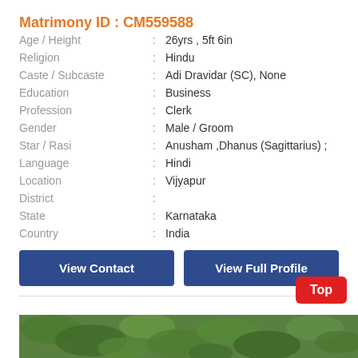Matrimony ID : CM559588
| Field | : | Value |
| --- | --- | --- |
| Age / Height | : | 26yrs , 5ft 6in |
| Religion | : | Hindu |
| Caste / Subcaste | : | Adi Dravidar (SC), None |
| Education | : | Business |
| Profession | : | Clerk |
| Gender | : | Male / Groom |
| Star / Rasi | : | Anusham ,Dhanus (Sagittarius) ; |
| Language | : | Hindi |
| Location | : | Vijyapur |
| District | : |  |
| State | : | Karnataka |
| Country | : | India |
View Contact
View Full Profile
[Figure (photo): Green leafy tree foliage photo at the bottom of the page]